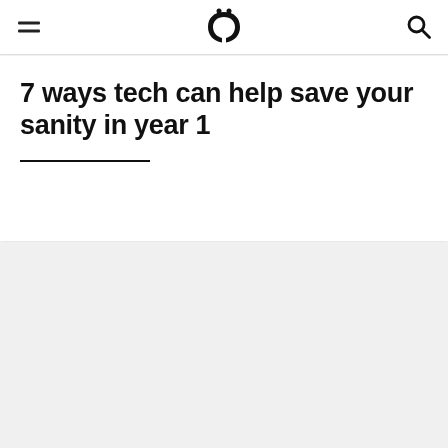UQ logo, hamburger menu, search icon
7 ways tech can help save your sanity in year 1